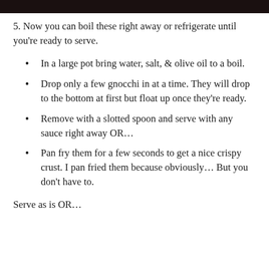5. Now you can boil these right away or refrigerate until you're ready to serve.
In a large pot bring water, salt, & olive oil to a boil.
Drop only a few gnocchi in at a time. They will drop to the bottom at first but float up once they're ready.
Remove with a slotted spoon and serve with any sauce right away OR…
Pan fry them for a few seconds to get a nice crispy crust. I pan fried them because obviously… But you don't have to.
Serve as is OR…